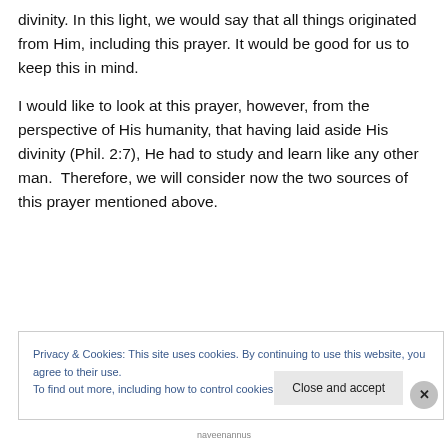We could also look at Jesus from the perspective of His divinity. In this light, we would say that all things originated from Him, including this prayer. It would be good for us to keep this in mind.
I would like to look at this prayer, however, from the perspective of His humanity, that having laid aside His divinity (Phil. 2:7), He had to study and learn like any other man.  Therefore, we will consider now the two sources of this prayer mentioned above.
Privacy & Cookies: This site uses cookies. By continuing to use this website, you agree to their use.
To find out more, including how to control cookies, see here: Cookie Policy